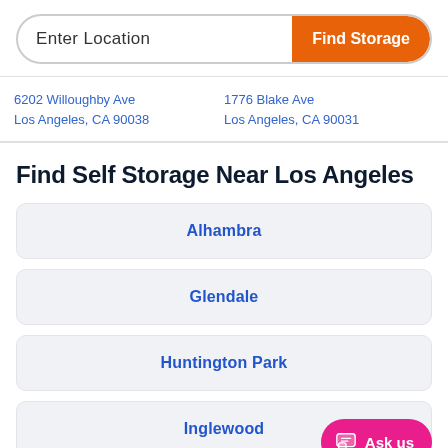Enter Location
Find Storage
6202 Willoughby Ave
Los Angeles, CA 90038
1776 Blake Ave
Los Angeles, CA 90031
Find Self Storage Near Los Angeles
Alhambra
Glendale
Huntington Park
Inglewood
Ask us